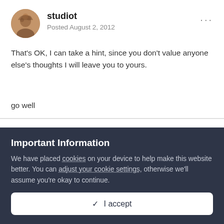studiot
Posted August 2, 2012
That's OK, I can take a hint, since you don't value anyone else's thoughts I will leave you to yours.
go well
Important Information
We have placed cookies on your device to help make this website better. You can adjust your cookie settings, otherwise we'll assume you're okay to continue.
✓  I accept